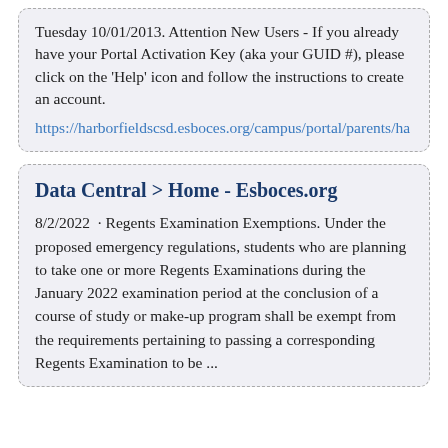Tuesday 10/01/2013. Attention New Users - If you already have your Portal Activation Key (aka your GUID #), please click on the 'Help' icon and follow the instructions to create an account.
https://harborfieldscsd.esboces.org/campus/portal/parents/ha
Data Central > Home - Esboces.org
8/2/2022 · Regents Examination Exemptions. Under the proposed emergency regulations, students who are planning to take one or more Regents Examinations during the January 2022 examination period at the conclusion of a course of study or make-up program shall be exempt from the requirements pertaining to passing a corresponding Regents Examination to be ...